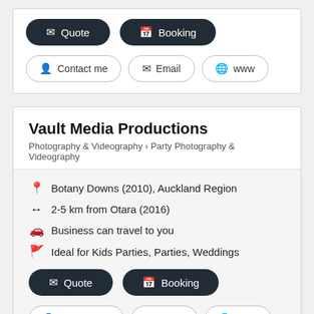Quote | Booking (buttons)
Contact me | Email | www (buttons)
Vault Media Productions
Photography & Videography > Party Photography & Videography
Botany Downs (2010), Auckland Region
2-5 km from Otara (2016)
Business can travel to you
Ideal for Kids Parties, Parties, Weddings
Quote | Booking (buttons)
Contact me | Email | www (buttons)